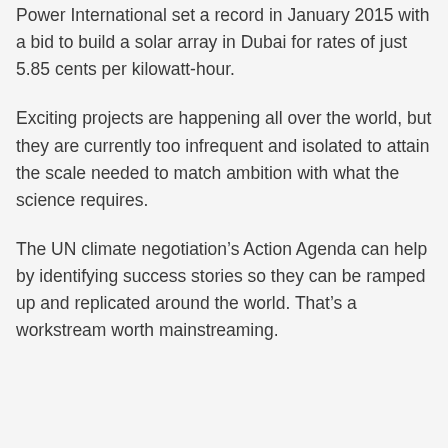Power International set a record in January 2015 with a bid to build a solar array in Dubai for rates of just 5.85 cents per kilowatt-hour.
Exciting projects are happening all over the world, but they are currently too infrequent and isolated to attain the scale needed to match ambition with what the science requires.
The UN climate negotiation’s Action Agenda can help by identifying success stories so they can be ramped up and replicated around the world. That’s a workstream worth mainstreaming.